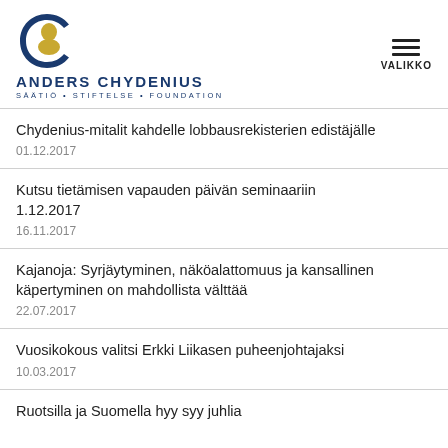Anders Chydenius Säätiö • Stiftelse • Foundation
Chydenius-mitalit kahdelle lobbausrekisterien edistäjälle
01.12.2017
Kutsu tietämisen vapauden päivän seminaariin 1.12.2017
16.11.2017
Kajanoja: Syrjäytyminen, näköalattomuus ja kansallinen käpertyminen on mahdollista välttää
22.07.2017
Vuosikokous valitsi Erkki Liikasen puheenjohtajaksi
10.03.2017
Ruotsilla ja Suomella hyy syy juhlia